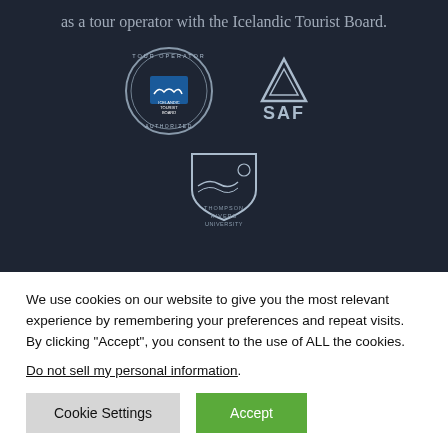as a tour operator with the Icelandic Tourist Board.
[Figure (logo): Icelandic Tourist Board Tour Operator Authorized circular badge logo]
[Figure (logo): SAF mountain logo with text SAF]
[Figure (logo): Thompson Rivers University shield logo with text THOMPSON RIVERS UNIVERSITY]
We use cookies on our website to give you the most relevant experience by remembering your preferences and repeat visits. By clicking “Accept”, you consent to the use of ALL the cookies.
Do not sell my personal information.
Cookie Settings
Accept